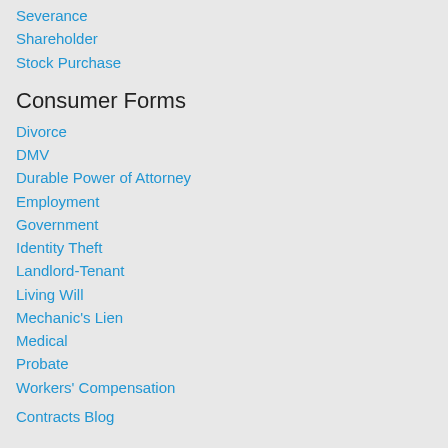Severance
Shareholder
Stock Purchase
Consumer Forms
Divorce
DMV
Durable Power of Attorney
Employment
Government
Identity Theft
Landlord-Tenant
Living Will
Mechanic's Lien
Medical
Probate
Workers' Compensation
Contracts Blog